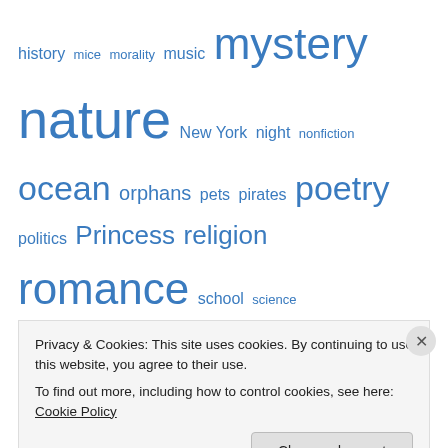history mice morality music mystery nature New York night nonfiction ocean orphans pets pirates poetry politics Princess religion romance school science seasons siblings single parent small town life snow song and dance storms strong girls theatre toys travel treasure violence war weather wilderness survival winter witches
Privacy & Cookies: This site uses cookies. By continuing to use this website, you agree to their use. To find out more, including how to control cookies, see here: Cookie Policy
Close and accept